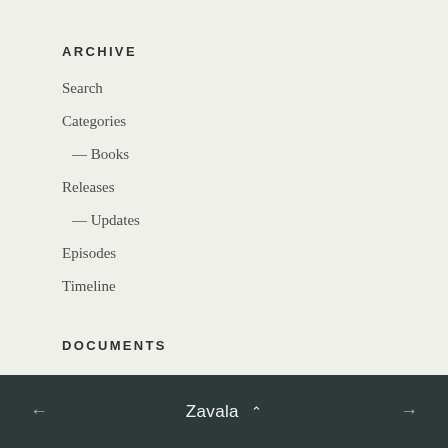ARCHIVE
Search
Categories
— Books
Releases
— Updates
Episodes
Timeline
DOCUMENTS
Lore Entries
Grimoire Cards
Transcripts
← Zavala ∧ →